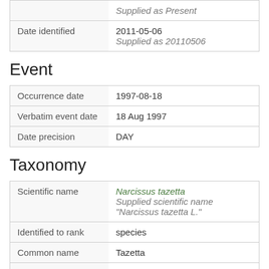|  | Supplied as Present |
| Date identified | 2011-05-06
Supplied as 20110506 |
Event
| Occurrence date | 1997-08-18 |
| Verbatim event date | 18 Aug 1997 |
| Date precision | DAY |
Taxonomy
| Scientific name | Narcissus tazetta
Supplied scientific name "Narcissus tazetta L." |
| Identified to rank | species |
| Common name | Tazetta |
| Kingdom | Plantae |